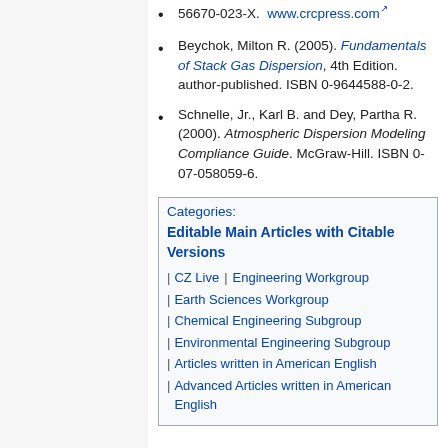56670-023-X. www.crcpress.com
Beychok, Milton R. (2005). Fundamentals of Stack Gas Dispersion, 4th Edition. author-published. ISBN 0-9644588-0-2.
Schnelle, Jr., Karl B. and Dey, Partha R. (2000). Atmospheric Dispersion Modeling Compliance Guide. McGraw-Hill. ISBN 0-07-058059-6.
Categories:
Editable Main Articles with Citable Versions
CZ Live | Engineering Workgroup
Earth Sciences Workgroup
Chemical Engineering Subgroup
Environmental Engineering Subgroup
Articles written in American English
Advanced Articles written in American English